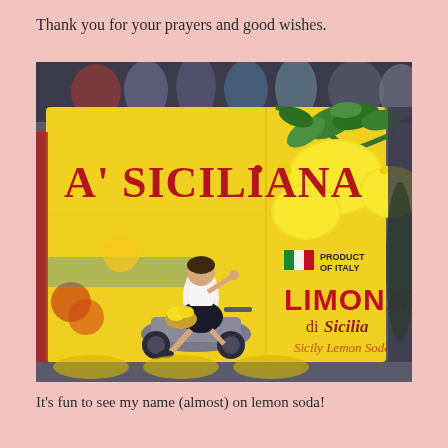Thank you for your prayers and good wishes.
[Figure (photo): A photo of a yellow multipack box of 'A' Siciliana Limonata di Sicilia (Sicily Lemon Soda), a product of Italy. The packaging features a retro-style illustration of a woman in traditional Sicilian dress riding a Vespa scooter, large lemons on branches, an Italian flag, and the text 'PRODUCT OF ITALY', 'LIMONATA', 'di Sicilia', 'Sicily Lemon Soda'. The box is photographed in what appears to be a store setting.]
It’s fun to see my name (almost) on lemon soda!